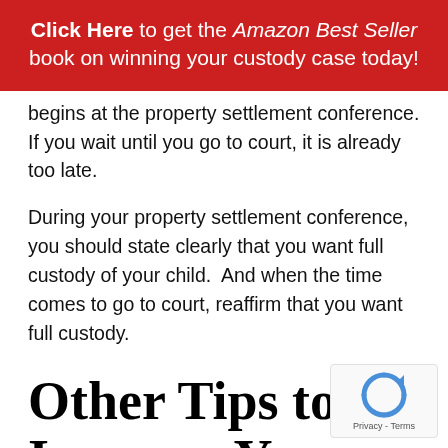Click Here to get the Amazon Best Seller book on winning your custody case today!
begins at the property settlement conference. If you wait until you go to court, it is already too late.
During your property settlement conference, you should state clearly that you want full custody of your child.  And when the time comes to go to court, reaffirm that you want full custody.
Other Tips to Increase Your